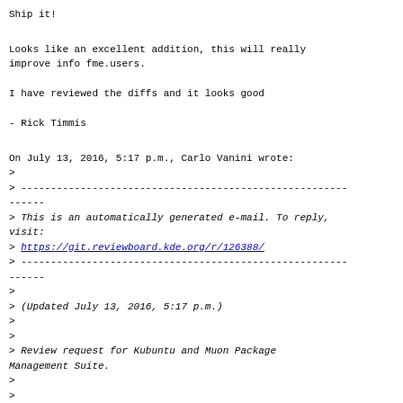Ship it!
Looks like an excellent addition, this will really
improve info fme.users.

I have reviewed the diffs and it looks good

- Rick Timmis
On July 13, 2016, 5:17 p.m., Carlo Vanini wrote:
>
> -------------------------------------------------------
------
> This is an automatically generated e-mail. To reply,
visit:
> https://git.reviewboard.kde.org/r/126388/
> -------------------------------------------------------
------
>
> (Updated July 13, 2016, 5:17 p.m.)
>
>
> Review request for Kubuntu and Muon Package
Management Suite.
>
>